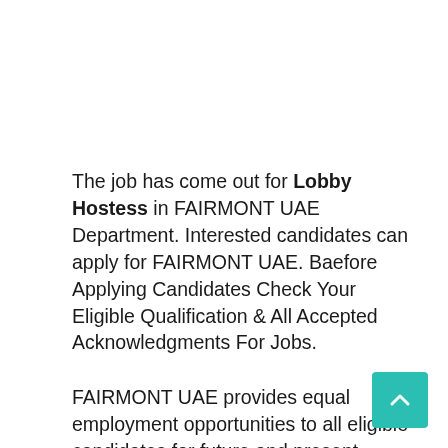The job has come out for Lobby Hostess in FAIRMONT UAE Department. Interested candidates can apply for FAIRMONT UAE. Baefore Applying Candidates Check Your Eligible Qualification & All Accepted Acknowledgments For Jobs.
FAIRMONT UAE provides equal employment opportunities to all eligible candidates for future and present vacancies. The Company believes to prohibit discrimination based on religion, sex, national origin, race, color, age,